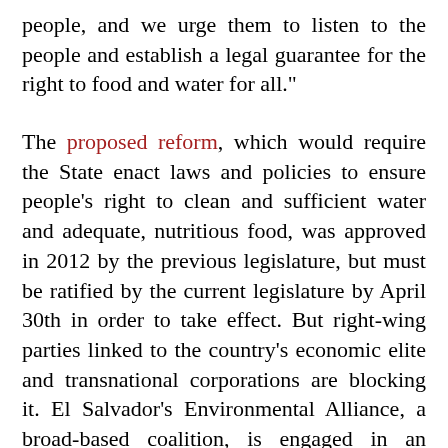people, and we urge them to listen to the people and establish a legal guarantee for the right to food and water for all."
The proposed reform, which would require the State enact laws and policies to ensure people's right to clean and sufficient water and adequate, nutritious food, was approved in 2012 by the previous legislature, but must be ratified by the current legislature by April 30th in order to take effect. But right-wing parties linked to the country's economic elite and transnational corporations are blocking it. El Salvador's Environmental Alliance, a broad-based coalition, is engaged in an intense campaign to make sure the reform is approved and called on international organizations to support their work.